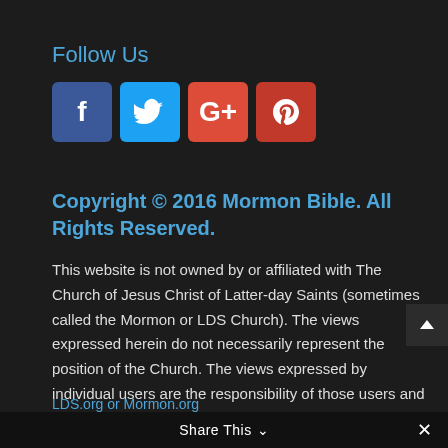Follow Us
[Figure (illustration): Four social media icons: Facebook (dark blue), Twitter (light blue), Google+ (orange-red), Pinterest (red)]
Copyright © 2016 Mormon Bible. All Rights Reserved.
This website is not owned by or affiliated with The Church of Jesus Christ of Latter-day Saints (sometimes called the Mormon or LDS Church). The views expressed herein do not necessarily represent the position of the Church. The views expressed by individual users are the responsibility of those users and do not necessarily represent the position of the Church. For the official Church websites, please visit LDS.org or Mormon.org
Share This ∨  ×